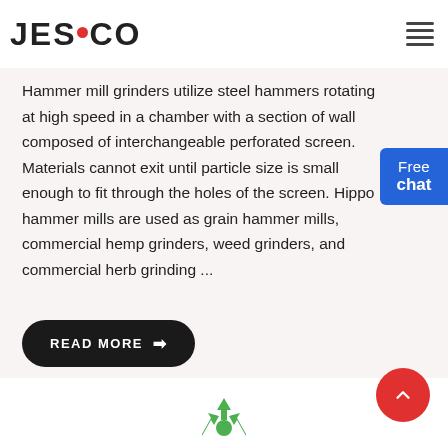JESCO
Hammer mill grinders utilize steel hammers rotating at high speed in a chamber with a section of wall composed of interchangeable perforated screen. Materials cannot exit until particle size is small enough to fit through the holes of the screen. Hippo hammer mills are used as grain hammer mills, commercial hemp grinders, weed grinders, and commercial herb grinding ...
READ MORE →
[Figure (illustration): Green recycling symbol icon at bottom of page]